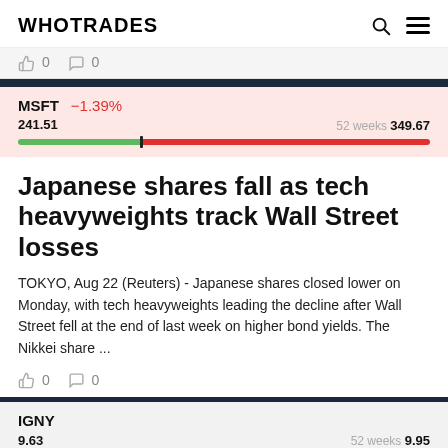WHOTRADES
👍 0  💬 0
[Figure (infographic): MSFT ticker bar showing price 241.51, 52 weeks high 349.67, and -1.39% change, with a green/red progress bar]
Japanese shares fall as tech heavyweights track Wall Street losses
TOKYO, Aug 22 (Reuters) - Japanese shares closed lower on Monday, with tech heavyweights leading the decline after Wall Street fell at the end of last week on higher bond yields. The Nikkei share ...
👍 0  💬 0
[Figure (infographic): IGNY ticker bar showing price 9.63, 52 weeks high 9.95, with a green/red progress bar]